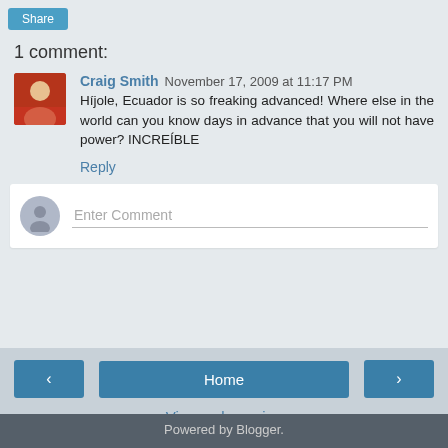Share
1 comment:
Craig Smith  November 17, 2009 at 11:17 PM
Híjole, Ecuador is so freaking advanced! Where else in the world can you know days in advance that you will not have power? INCREÍBLE
Reply
Enter Comment
Home
View web version
Powered by Blogger.